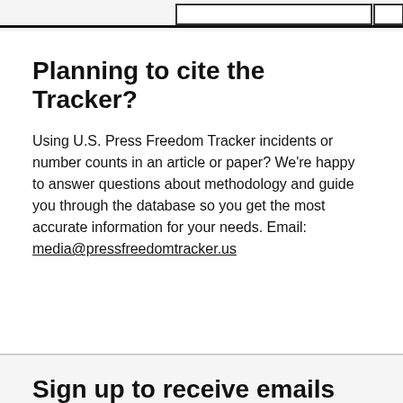Planning to cite the Tracker?
Using U.S. Press Freedom Tracker incidents or number counts in an article or paper? We're happy to answer questions about methodology and guide you through the database so you get the most accurate information for your needs. Email: media@pressfreedomtracker.us
Sign up to receive emails from the U.S. Press Freedom Tracker